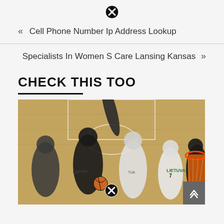[Figure (other): Close/X button icon at top center]
« Cell Phone Number Ip Address Lookup
Specialists In Women S Care Lansing Kansas »
CHECK THIS TOO
[Figure (photo): Basketball game photo showing players from USA and Lithuania (LIETUVA) competing near the basket. Player wearing number 7 for Lithuania visible. An X/close button overlaid at the bottom center of the image.]